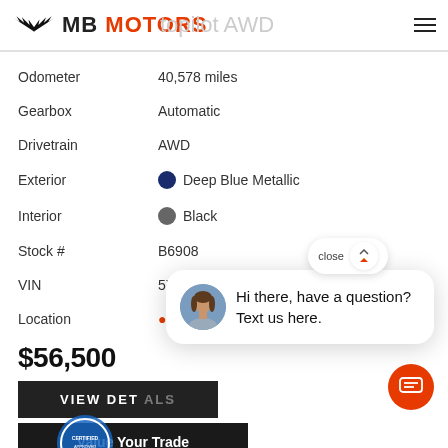MB MOTORS — autopilot AWD
| Field | Value |
| --- | --- |
| Odometer | 40,578 miles |
| Gearbox | Automatic |
| Drivetrain | AWD |
| Exterior | Deep Blue Metallic |
| Interior | Black |
| Stock # | B6908 |
| VIN | 5YJ3E1EB7KF433110 |
| Location | Bellingham |
$56,500
VIEW DETAILS
Value Your Trade
Contact Us
Hi there, have a question? Text us here.
close